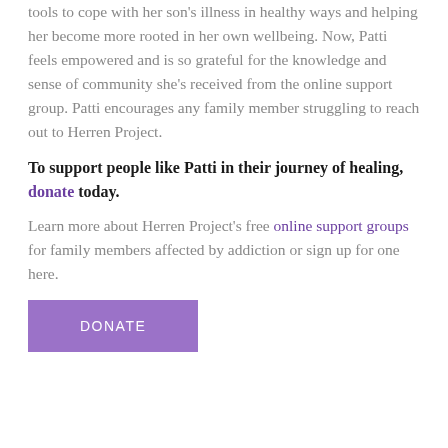tools to cope with her son's illness in healthy ways and helping her become more rooted in her own wellbeing. Now, Patti feels empowered and is so grateful for the knowledge and sense of community she's received from the online support group. Patti encourages any family member struggling to reach out to Herren Project.
To support people like Patti in their journey of healing, donate today.
Learn more about Herren Project's free online support groups for family members affected by addiction or sign up for one here.
[Figure (other): Purple rectangular donate button with white uppercase text 'DONATE']